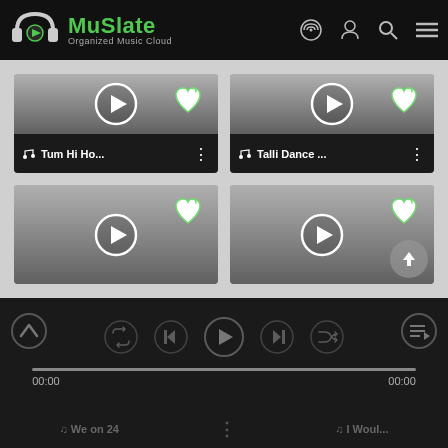MuSlate - Organized Music Cloud
[Figure (screenshot): Music card with play button and heart icon for Tum Hi Ho...]
Tum Hi Ho...
[Figure (screenshot): Music card with play button and heart icon for Talli Dance ...]
Talli Dance ...
[Figure (screenshot): Music card with play button and heart icon (bottom left, partially visible)]
[Figure (screenshot): Music card with play button and heart icon (bottom right, partially visible) with share overlay]
[Figure (screenshot): Bottom media player bar with playback controls, progress bar showing 00:00 / 00:00]